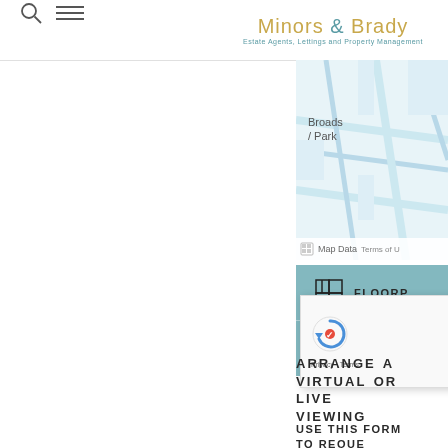Minors & Brady — Estate Agents, Lettings and Property Management
[Figure (map): Google Maps partial view showing 'Broads / Park' area with street grid and Map Data / Terms of Use footer]
[Figure (infographic): Floorplan and stairs icons on teal/blue background with 'FLOORP' text label]
[Figure (other): reCAPTCHA widget overlay showing spinning arrow logo and Privacy - Terms footer]
ARRANGE A VIRTUAL OR LIVE VIEWING
USE THIS FORM TO REQUEST